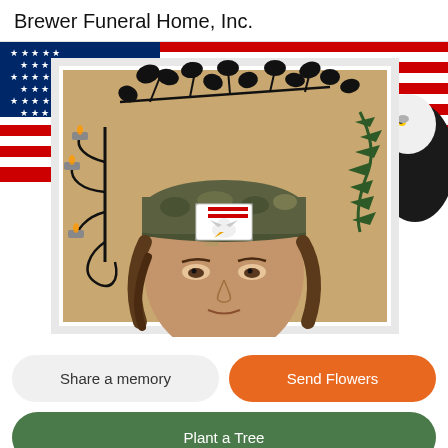Brewer Funeral Home, Inc.
[Figure (photo): A composite image showing an American flag with a bald eagle in the upper right, and a framed portrait of a person wearing a camouflage cap with an American flag/bald eagle emblem. In the background of the portrait are decorative black metal ivy/leaf wall art, a candelabra on the left, and a pine branch on the right. The person's face is partially visible at the bottom center of the portrait.]
Share a memory
Send Flowers
Plant a Tree